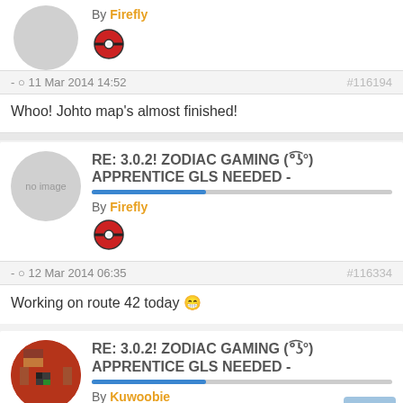By Firefly
- 11 Mar 2014 14:52   #116194
Whoo! Johto map's almost finished!
RE: 3.0.2! ZODIAC GAMING (°͜ʖ°) APPRENTICE GLS NEEDED -
By Firefly
- 12 Mar 2014 06:35   #116334
Working on route 42 today 😁
RE: 3.0.2! ZODIAC GAMING (°͜ʖ°) APPRENTICE GLS NEEDED -
By Kuwoobie